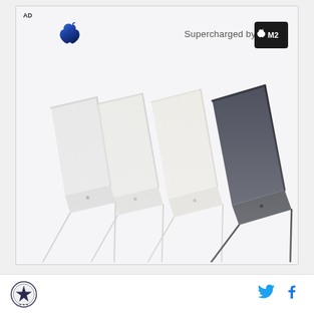AD
[Figure (logo): Apple logo in blue gradient]
Supercharged by
[Figure (logo): Apple M2 chip logo on dark background]
[Figure (photo): Four MacBook Air laptops in different colors (silver, starlight, silver/white, midnight/dark) shown slightly open from the side in a staggered arrangement]
[Figure (logo): Star badge/seal icon in footer]
[Figure (logo): Twitter bird icon in blue]
[Figure (logo): Facebook f icon in blue]